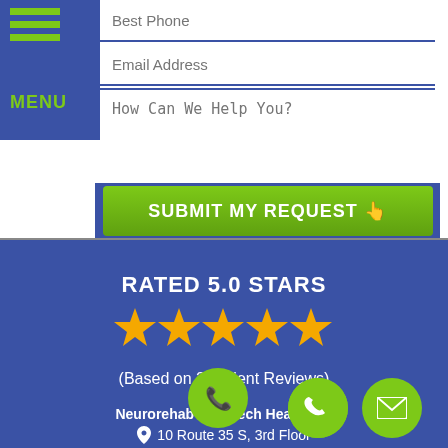[Figure (screenshot): Contact form with Best Phone and Email Address input fields, a How Can We Help You textarea, and a green Submit My Request button with hand pointer icon]
RATED 5.0 STARS
[Figure (infographic): Five gold star rating icons]
(Based on 20 Client Reviews)
Neurorehab & Speech Healers, L
10 Route 35 S, 3rd Floor